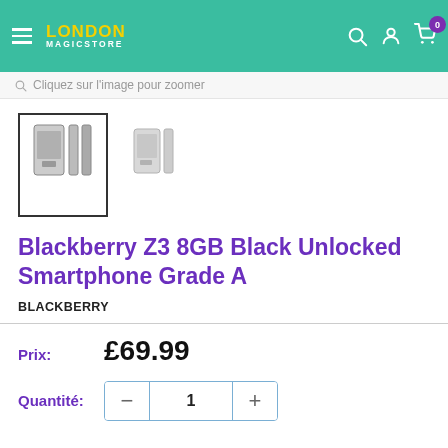London Magicstore
Cliquez sur l'image pour zoomer
[Figure (photo): Product thumbnails of Blackberry Z3 smartphone showing front and side views]
Blackberry Z3 8GB Black Unlocked Smartphone Grade A
BLACKBERRY
Prix: £69.99
Quantité: 1